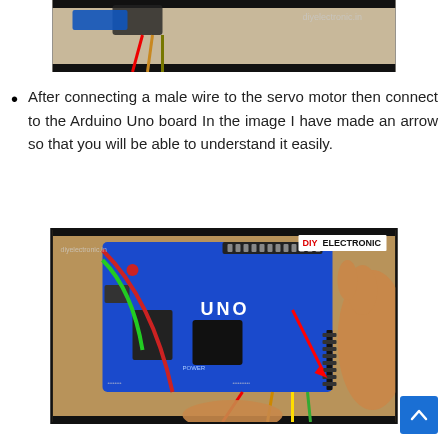[Figure (photo): Top portion of a photo showing a servo motor with male wires connected, with watermark 'diyelectronic.in' visible in the top right corner. Background is a light neutral surface.]
After connecting a male wire to the servo motor then connect to the Arduino Uno board In the image I have made an arrow so that you will be able to understand it easily.
[Figure (photo): Photo showing an Arduino Uno board being held by hands. Colored wires (red, green, yellow, orange) are connected to the board. A red arrow is drawn on the image pointing to the connection point. DIY ELECTRONIC watermark badge is visible in the top right corner. 'diyelectronic.in' watermark is also visible in the top left.]